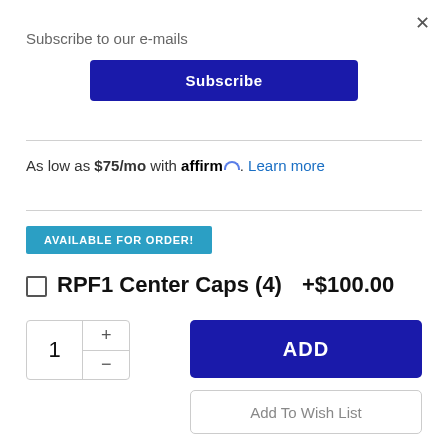×
Subscribe to our e-mails
Subscribe
As low as $75/mo with affirm. Learn more
AVAILABLE FOR ORDER!
RPF1 Center Caps (4)  +$100.00
1
ADD
Add To Wish List